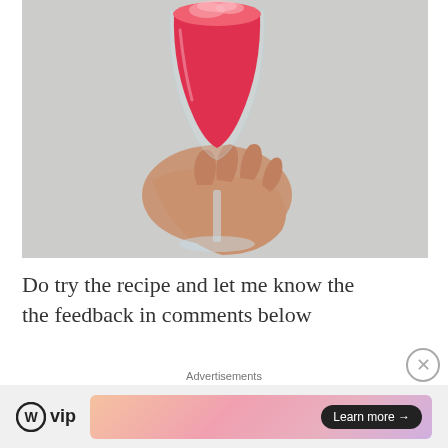[Figure (photo): A hand holding a wine glass filled with a red/pink frozen slushy drink against a light grey background]
Do try the recipe and let me know the the feedback in comments below
Advertisements
[Figure (other): WordPress VIP logo and a colorful gradient advertisement banner with a 'Learn more →' button]